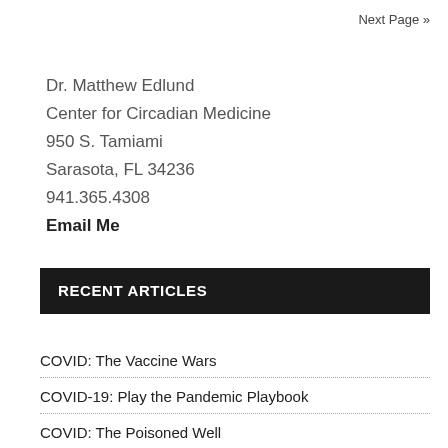Next Page »
Dr. Matthew Edlund
Center for Circadian Medicine
950 S. Tamiami
Sarasota, FL 34236
941.365.4308
Email Me
RECENT ARTICLES
COVID: The Vaccine Wars
COVID-19: Play the Pandemic Playbook
COVID: The Poisoned Well